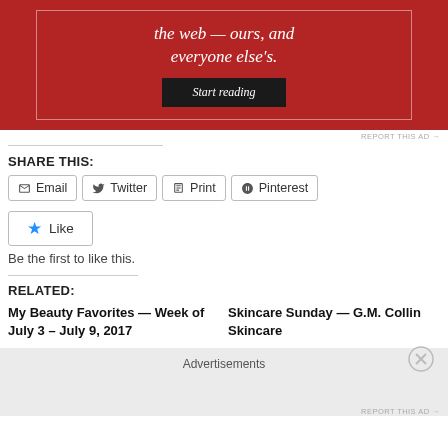[Figure (other): Red advertisement banner with text 'the web — ours, and everyone else's.' and a 'Start reading' button]
REPORT THIS AD
SHARE THIS:
Email
Twitter
Print
Pinterest
Like
Be the first to like this.
RELATED:
My Beauty Favorites — Week of July 3 – July 9, 2017
Skincare Sunday — G.M. Collin Skincare
Advertisements
REPORT THIS AD